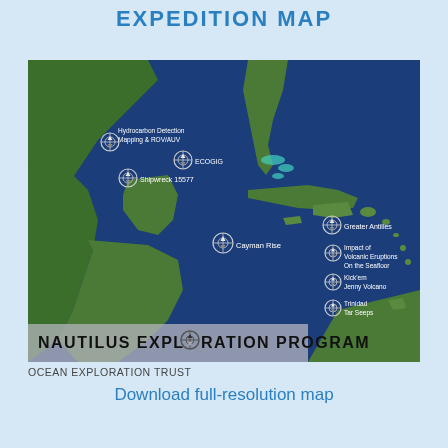EXPEDITION MAP
[Figure (map): Satellite map of the Gulf of Mexico and Caribbean Sea showing expedition sites: Hydrocarbon Detection Mapping & ROV/AUV, ECOGIG, Shipwreck 15577, Cayman Rise, Greater Antilles, Impact of Volcanic Eruptions On the Seafloor, Kick'em Jenny Volcano, Trinidad Tar Seeps. Nautilus Exploration Program logo at bottom.]
OCEAN EXPLORATION TRUST
Download full-resolution map